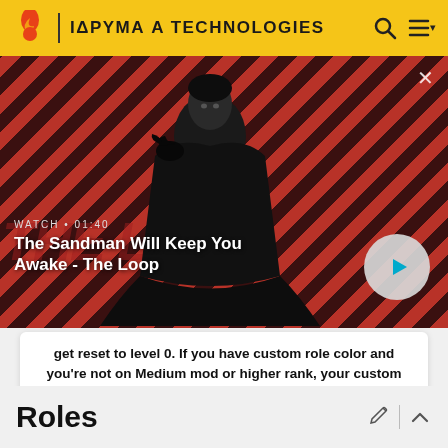ΙΔΡΥΜΑ A TECHNOLOGIES
[Figure (screenshot): Video thumbnail showing a dark-cloaked figure with a crow/raven on their shoulder against a red and black diagonal striped background. Overlay text shows 'WATCH • 01:40' and title 'The Sandman Will Keep You Awake - The Loop' with a play button on the right.]
get reset to level 0. If you have custom role color and you're not on Medium mod or higher rank, your custom role color will also be taken out
Roles